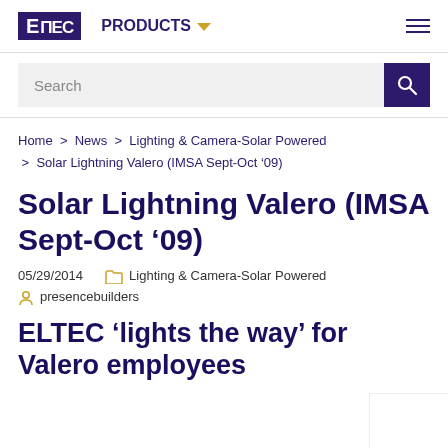ELTEC  PRODUCTS  ☰
Search
Home  >  News  >  Lighting & Camera-Solar Powered  >  Solar Lightning Valero (IMSA Sept-Oct '09)
Solar Lightning Valero (IMSA Sept-Oct '09)
05/29/2014     Lighting & Camera-Solar Powered
presencebuilders
ELTEC 'lights the way' for Valero employees